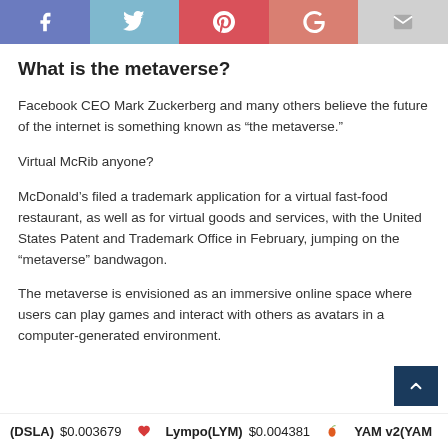[Figure (other): Social media share buttons bar: Facebook (blue-purple), Twitter (light blue), Pinterest (red), Google+ (salmon), Email (light grey)]
What is the metaverse?
Facebook CEO Mark Zuckerberg and many others believe the future of the internet is something known as “the metaverse.”
Virtual McRib anyone?
McDonald’s filed a trademark application for a virtual fast-food restaurant, as well as for virtual goods and services, with the United States Patent and Trademark Office in February, jumping on the “metaverse” bandwagon.
The metaverse is envisioned as an immersive online space where users can play games and interact with others as avatars in a computer-generated environment.
(DSLA) $0.003679   Lympo(LYM) $0.004381   YAM v2(YAM